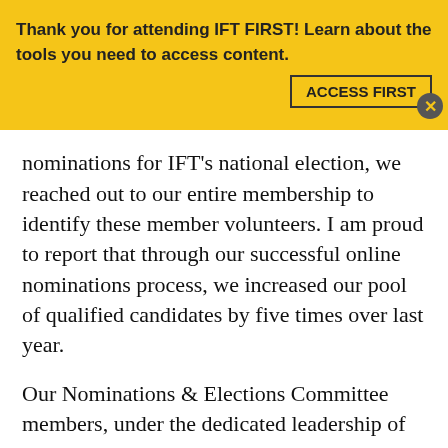Thank you for attending IFT FIRST! Learn about the tools you need to access content. ACCESS FIRST ✕
nominations for IFT's national election, we reached out to our entire membership to identify these member volunteers. I am proud to report that through our successful online nominations process, we increased our pool of qualified candidates by five times over last year.
Our Nominations & Elections Committee members, under the dedicated leadership of Committee Chair Bruce Stillings, have worked tirelessly to develop our ballot of distinguished volunteer candidates, which we will officially